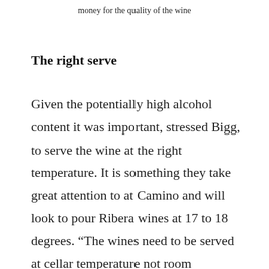money for the quality of the wine
The right serve
Given the potentially high alcohol content it was important, stressed Bigg, to serve the wine at the right temperature. It is something they take great attention to at Camino and will look to pour Ribera wines at 17 to 18 degrees. “The wines need to be served at cellar temperature not room temperature. It’s perfectly normal in